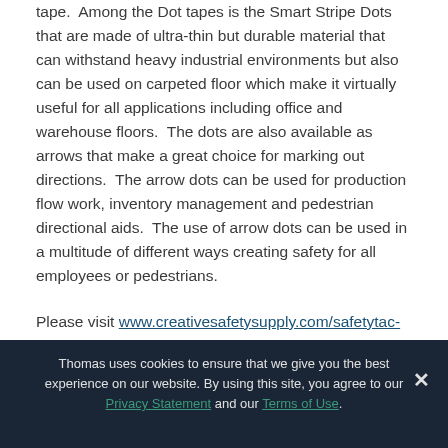tape.  Among the Dot tapes is the Smart Stripe Dots that are made of ultra-thin but durable material that can withstand heavy industrial environments but also can be used on carpeted floor which make it virtually useful for all applications including office and warehouse floors.  The dots are also available as arrows that make a great choice for marking out directions.  The arrow dots can be used for production flow work, inventory management and pedestrian directional aids.  The use of arrow dots can be used in a multitude of different ways creating safety for all employees or pedestrians.
Please visit www.creativesafetysupply.com/safetytac-dots/ for more information about floor dots or other safety products
Thomas uses cookies to ensure that we give you the best experience on our website. By using this site, you agree to our Privacy Statement and our Terms of Use.